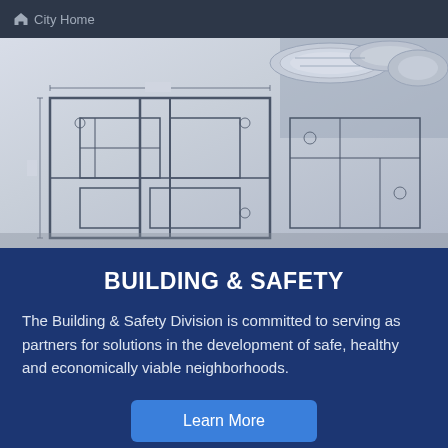City Home
[Figure (photo): Architectural blueprint/floor plan drawings rolled and spread out, showing building schematics with technical lines and measurements in blue and gray tones]
BUILDING & SAFETY
The Building & Safety Division is committed to serving as partners for solutions in the development of safe, healthy and economically viable neighborhoods.
Learn More